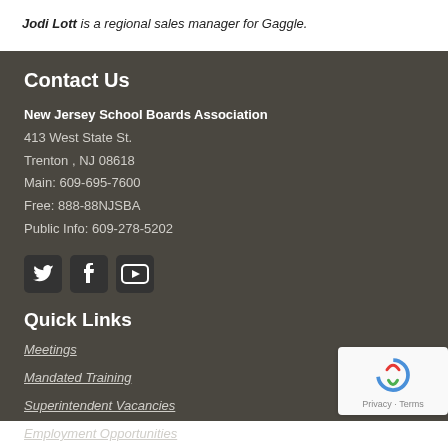Jodi Lott is a regional sales manager for Gaggle.
Contact Us
New Jersey School Boards Association
413 West State St.
Trenton , NJ 08618
Main: 609-695-7600
Free: 888-88NJSBA
Public Info: 609-278-5202
[Figure (infographic): Social media icons: Twitter bird, Facebook f, YouTube play button]
Quick Links
Meetings
Mandated Training
Superintendent Vacancies
Employment Opportunities
Public Records Information